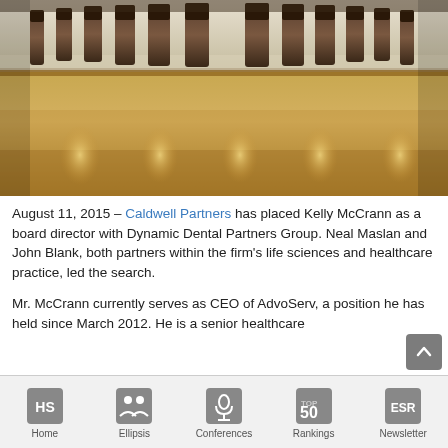[Figure (photo): A long boardroom conference table with leather chairs on both sides, viewed from the end of the table. Warm wood tones, reflections on the table surface.]
August 11, 2015 – Caldwell Partners has placed Kelly McCrann as a board director with Dynamic Dental Partners Group. Neal Maslan and John Blank, both partners within the firm's life sciences and healthcare practice, led the search.
Mr. McCrann currently serves as CEO of AdvoServ, a position he has held since March 2012. He is a senior healthcare
Home  Ellipsis  Conferences  Rankings  Newsletter